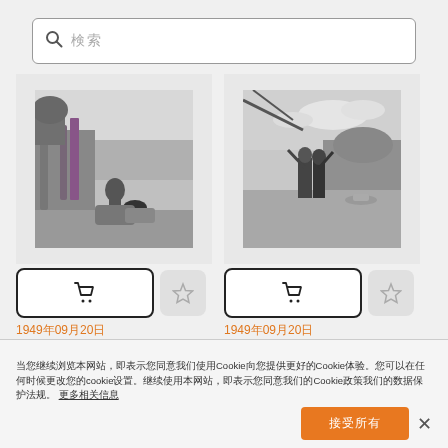[Figure (screenshot): Search bar with magnifying glass icon and placeholder text]
[Figure (photo): Black and white photograph of a person near a river with reeds and vegetation]
[Figure (photo): Black and white photograph of two people standing by a lake with a boat in the background]
1949年09月20日
1949年09月20日
当您继续浏览本网站，即表示您同意我们使用Cookie向您提供更好的Cookie体验。您可以在任何时候更改您的cookie设置。继续使用本网站，即表示您同意我们的Cookie政策我们的数据保护法规。 更多相关信息